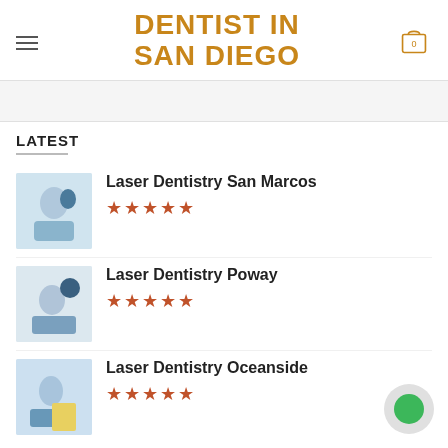DENTIST IN SAN DIEGO
LATEST
Laser Dentistry San Marcos
★★★★★
Laser Dentistry Poway
★★★★★
Laser Dentistry Oceanside
★★★★★